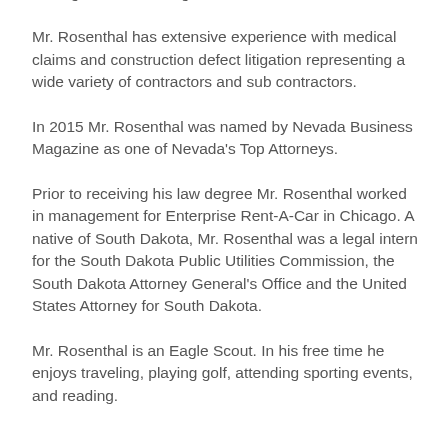subrogation and wrongful death claims.
Mr. Rosenthal has extensive experience with medical claims and construction defect litigation representing a wide variety of contractors and sub contractors.
In 2015 Mr. Rosenthal was named by Nevada Business Magazine as one of Nevada's Top Attorneys.
Prior to receiving his law degree Mr. Rosenthal worked in management for Enterprise Rent-A-Car in Chicago. A native of South Dakota, Mr. Rosenthal was a legal intern for the South Dakota Public Utilities Commission, the South Dakota Attorney General's Office and the United States Attorney for South Dakota.
Mr. Rosenthal is an Eagle Scout. In his free time he enjoys traveling, playing golf, attending sporting events, and reading.